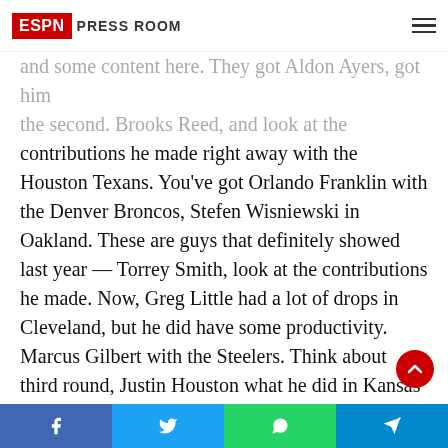ESPN Press Room
...and look at the contributions he made right away with the Houston Texans. You've got Orlando Franklin with the Denver Broncos, Stefen Wisniewski in Oakland. These are guys that definitely showed last year — Torrey Smith, look at the contributions he made. Now, Greg Little had a lot of drops in Cleveland, but he did have some productivity. Marcus Gilbert with the Steelers. Think about third round, Justin Houston what he did in Kansas City, got some sacks and got after the quarterback. I think Chris Culliver did a nice job in San Francisco. So you've got to hit those picks.

In terms of the type of offense and what they fit and the schemes that the quarterbacks belong in,
Facebook  Twitter  WhatsApp  Telegram